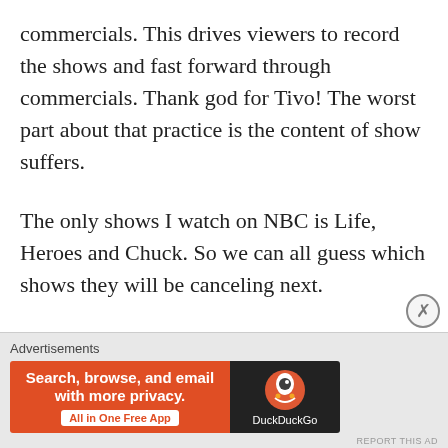commercials. This drives viewers to record the shows and fast forward through commercials. Thank god for Tivo! The worst part about that practice is the content of show suffers.
The only shows I watch on NBC is Life, Heroes and Chuck. So we can all guess which shows they will be canceling next.
★ Like
Advertisements
[Figure (other): DuckDuckGo advertisement banner: orange background with text 'Search, browse, and email with more privacy. All in One Free App' and DuckDuckGo logo on dark background.]